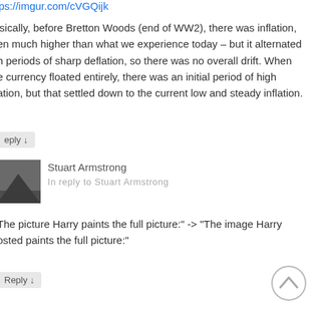https://imgur.com/cVGQijk
isically, before Bretton Woods (end of WW2), there was inflation, even much higher than what we experience today – but it alternated with periods of sharp deflation, so there was no overall drift. When the currency floated entirely, there was an initial period of high inflation, but that settled down to the current low and steady inflation.
Reply ↓
Stuart Armstrong
In reply to Stuart Armstrong
The picture Harry paints the full picture:" -> "The image Harry posted paints the full picture:"
Reply ↓